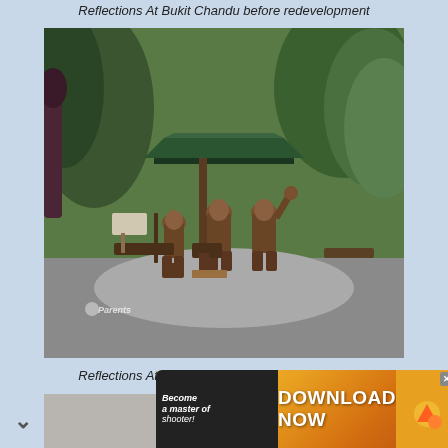Reflections At Bukit Chandu before redevelopment
[Figure (photo): Outdoor photo showing bronze military statues of three soldiers under a green gazebo structure, surrounded by tropical jungle vegetation and trees. A watermark reading 'Parents' is visible in the lower left.]
Reflections At Bukit Chandu before redevelopment
[Figure (photo): Partially visible photo at the bottom of the page showing an indoor scene, cut off.]
[Figure (infographic): Advertisement banner: 'Become a master of shooter! DOWNLOAD NOW' with golden and dark background and a close button marked X.]